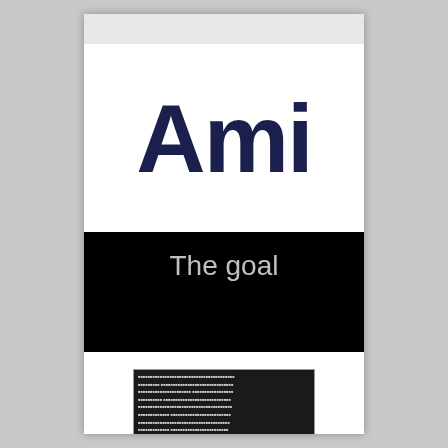Ami
[Figure (other): Black banner with text 'The goal' in gray sans-serif font on black background]
[Figure (other): Dense small text block with multiple lines of body text, dark background, appears to be magazine or document content]